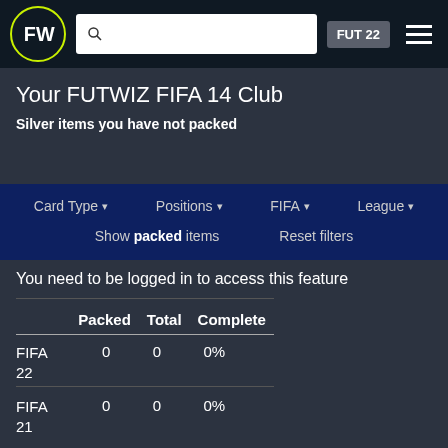[Figure (screenshot): FUTWIZ logo in circular border with navigation bar]
Your FUTWIZ FIFA 14 Club
Silver items you have not packed
Card Type ▾   Positions ▾   FIFA ▾   League ▾
Show packed items   Reset filters
You need to be logged in to access this feature
|  | Packed | Total | Complete |
| --- | --- | --- | --- |
| FIFA 22 | 0 | 0 | 0% |
| FIFA 21 | 0 | 0 | 0% |